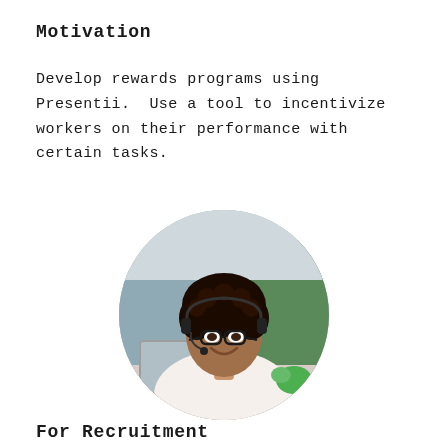Motivation
Develop rewards programs using Presentii.  Use a tool to incentivize workers on their performance with certain tasks.
[Figure (photo): Circular cropped photo of a young woman with curly hair wearing glasses and a headset, smiling and working at a laptop.]
For Recruitment